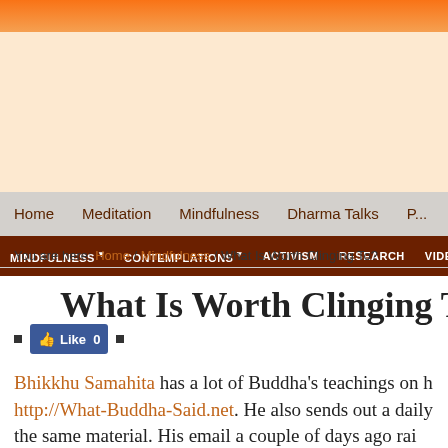Home / Meditation / Mindfulness / Dharma Talks / P...
MINDFULNESS ▾ / CONTEMPLATIONS ▾ / ACTIVISM / RESEARCH / VIDEO...
You are here: Home / Mindfulness / What Is Worth Clinging To?
What Is Worth Clinging To
Like 0
Bhikkhu Samahita has a lot of Buddha's teachings on h http://What-Buddha-Said.net. He also sends out a daily the same material. His email a couple of days ago rai